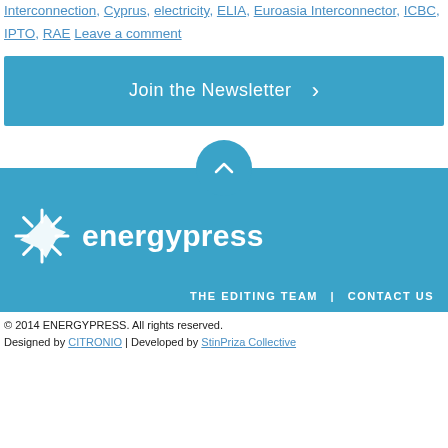Interconnection, Cyprus, electricity, ELIA, Euroasia Interconnector, ICBC, IPTO, RAE Leave a comment
[Figure (infographic): Blue banner with text 'Join the Newsletter' and a right-pointing chevron arrow on the right side]
[Figure (infographic): Blue circular scroll-to-top button with an upward chevron arrow]
[Figure (logo): Energypress logo on blue background — white starburst/ray icon followed by the word 'energypress' in white bold text]
THE EDITING TEAM | CONTACT US
© 2014 ENERGYPRESS. All rights reserved.
Designed by CITRONIO | Developed by StinPriza Collective